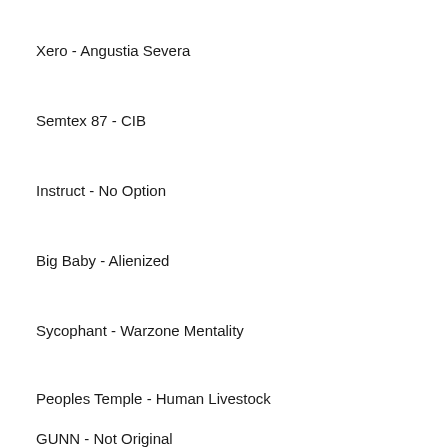Xero - Angustia Severa
Semtex 87 - CIB
Instruct - No Option
Big Baby - Alienized
Sycophant - Warzone Mentality
Peoples Temple - Human Livestock
GUNN - Not Original